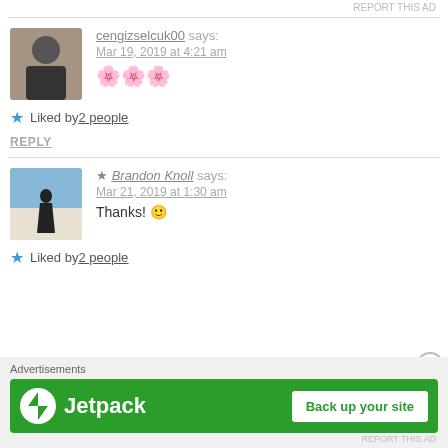REPORT THIS AD
cengizselcuk00 says: Mar 19, 2019 at 4:21 am 🌸🌸🌸
Liked by 2 people
REPLY
★ Brandon Knoll says: Mar 21, 2019 at 1:30 am Thanks! 🙂
Liked by 2 people
Advertisements
[Figure (screenshot): Jetpack advertisement banner with green background showing Jetpack logo and 'Back up your site' button]